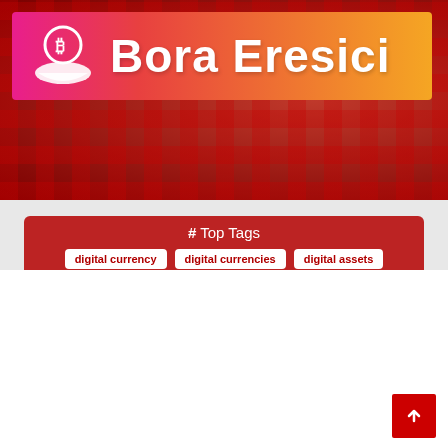[Figure (logo): Bora Eresici website logo with bitcoin hand icon on gradient banner]
# Top Tags
digital currency  digital currencies  digital assets
united states  bank digital  buy sell  bitcoin network
[Figure (screenshot): Navigation bar with home, menu, search, and monitor buttons on dark background]
CRYPTOCURRENCIES
In the battle between cryptocurrencies and Fiat, Elon Musk is betting on crypto!